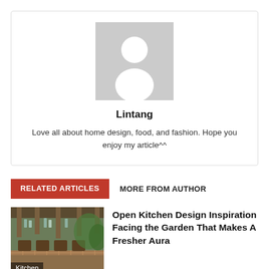[Figure (illustration): Author avatar placeholder — grey square with white silhouette of a person (head circle and shoulders)]
Lintang
Love all about home design, food, and fashion. Hope you enjoy my article^^
RELATED ARTICLES
MORE FROM AUTHOR
[Figure (photo): Outdoor open kitchen facing a garden, with wooden ceiling beams, bar stools, hanging bottles, and lush greenery. Label: Kitchen]
Open Kitchen Design Inspiration Facing the Garden That Makes A Fresher Aura